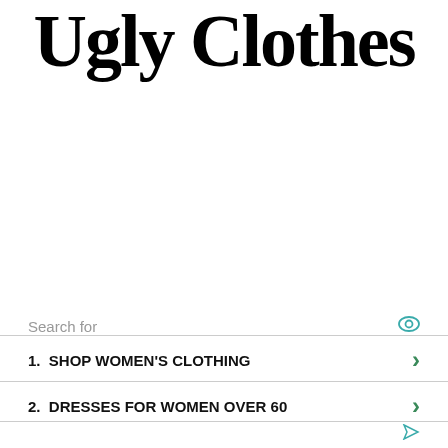Ugly Clothes
Search for
1.  SHOP WOMEN'S CLOTHING
2.  DRESSES FOR WOMEN OVER 60